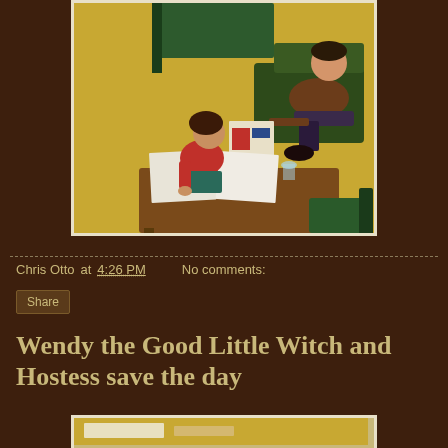[Figure (illustration): Vintage retro illustration showing a man in a brown suit sitting in a chair reading papers, and a woman/girl in a red top kneeling by a table with papers on it. Yellow floor, green furniture, overhead view.]
Chris Otto at 4:26 PM    No comments:
Share
Wendy the Good Little Witch and Hostess save the day
[Figure (illustration): Bottom strip of another vintage illustration, partially visible.]